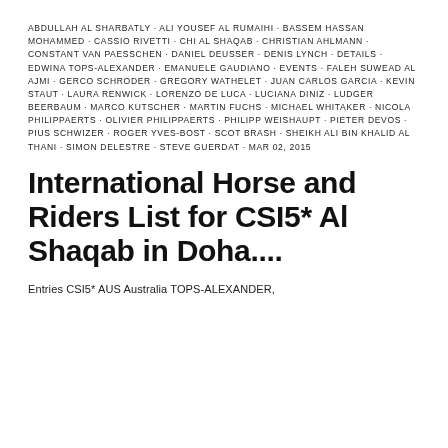ABDULLAH AL SHARBATLY · ALI YOUSEF AL RUMAIHI · BASSEM HASSAN MOHAMMED · CASSIO RIVETTI · CHI AL SHAQAB · CHRISTIAN AHLMANN · CONSTANT VAN PAESSCHEN · DANIEL DEUSSER · DENIS LYNCH · DETAILS · EDWINA TOPS-ALEXANDER · EMANUELE GAUDIANO · EVENTS · FALEH SUWEAD AL AJMI · GERCO SCHRODER · GREGORY WATHELET · JUAN CARLOS GARCIA · KEVIN STAUT · LAURA RENWICK · LORENZO DE LUCA · LUCIANA DINIZ · LUDGER BEERBAUM · MARCO KUTSCHER · MARTIN FUCHS · MICHAEL WHITAKER · NICOLA PHILIPPAERTS · OLIVIER PHILIPPAERTS · PHILIPP WEISHAUPT · PIETER DEVOS · PIUS SCHWIZER · ROGER YVES-BOST · SCOT BRASH · SHEIKH ALI BIN KHALID AL THANI · SIMON DELESTRE · STEVE GUERDAT · MAR 02, 2015
International Horse and Riders List for CSI5* Al Shaqab in Doha....
Entries CSI5* AUS Australia TOPS-ALEXANDER,